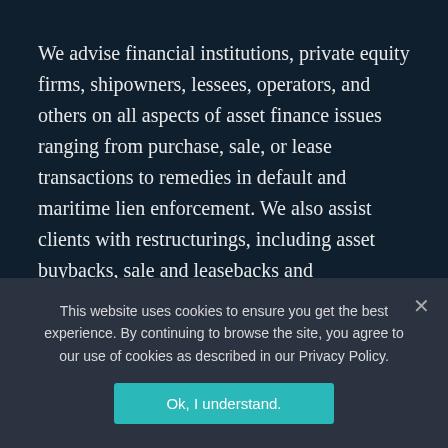We advise financial institutions, private equity firms, shipowners, lessees, operators, and others on all aspects of asset finance issues ranging from purchase, sale, or lease transactions to remedies in default and maritime lien enforcement. We also assist clients with restructurings, including asset buybacks, sale and leasebacks and refinancing.
IMG attorneys routinely represent banks and other financial institutions with their asset-based loans
This website uses cookies to ensure you get the best experience. By continuing to browse the site, you agree to our use of cookies as described in our Privacy Policy.
Ok, I understand.